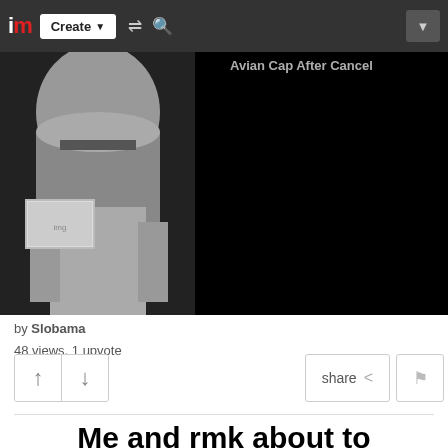im | Create ▼ | [shuffle icon] [search icon] | [dropdown]
[Figure (screenshot): Top portion of a meme page showing a knight in armor against a black background, with partially visible text overlay reading 'Avian Cap after Cancel']
by Slobama
48 views, 1 upvote
[Figure (screenshot): Action row with upvote/downvote buttons on left, share and flag buttons on right]
Me and rmk about to announce the revival of HCP:
[Figure (photo): Two armored knights/warriors in fantasy medieval setting, one wearing a yellow and black striped helmet, standing in front of trees and stone wall]